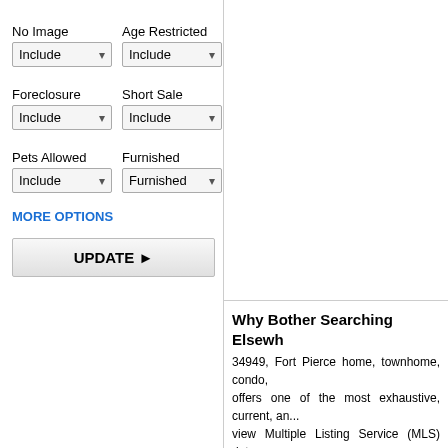No Image
Age Restricted
Foreclosure
Short Sale
Pets Allowed
Furnished
MORE OPTIONS
UPDATE ▶
Why Bother Searching Elsewh...
34949, Fort Pierce home, townhome, condo, offers one of the most exhaustive, current, an... view Multiple Listing Service (MLS) data on... unable to find specific information on any of c...
Data is updated at least once a week by Sur... may no longer be available. The data relating... the multiple listing service (MLS) in which thi...